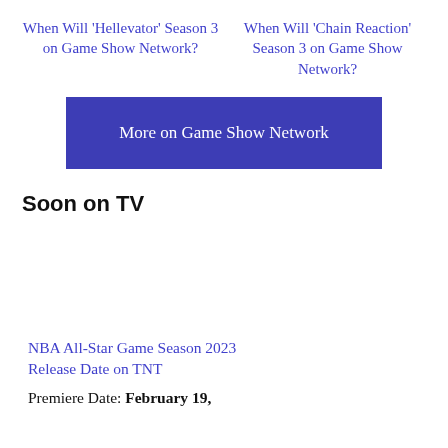When Will 'Hellevator' Season 3 on Game Show Network?
When Will 'Chain Reaction' Season 3 on Game Show Network?
More on Game Show Network
Soon on TV
NBA All-Star Game Season 2023 Release Date on TNT
Premiere Date: February 19, 2023